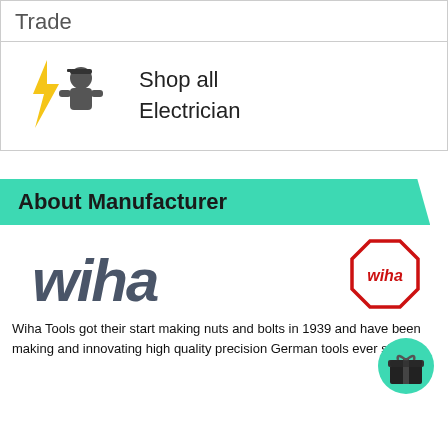Trade
[Figure (illustration): Electrician icon: yellow lightning bolt and grey figure of a person wearing a cap]
Shop all Electrician
About Manufacturer
[Figure (logo): Wiha logo: italic bold dark grey wordmark 'wiha' and a red octagon badge with 'wiha' text inside]
[Figure (other): Green circular gift/present icon button]
Wiha Tools got their start making nuts and bolts in 1939 and have been making and innovating high quality precision German tools ever since.